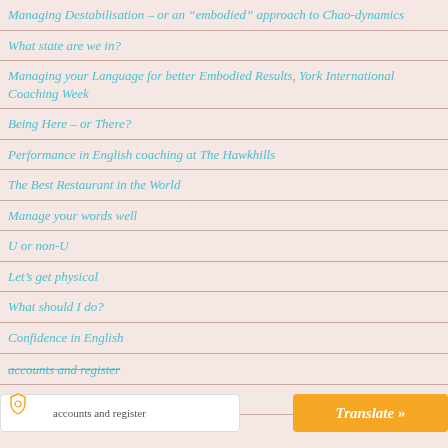Managing Destabilisation – or an “embodied” approach to Chao-dynamics
What state are we in?
Managing your Language for better Embodied Results, York International Coaching Week
Being Here – or There?
Performance in English coaching at The Hawkhills
The Best Restaurant in the World
Manage your words well
U or non-U
Let’s get physical
What should I do?
Confidence in English
accounts and register (strikethrough)
Walk the talk